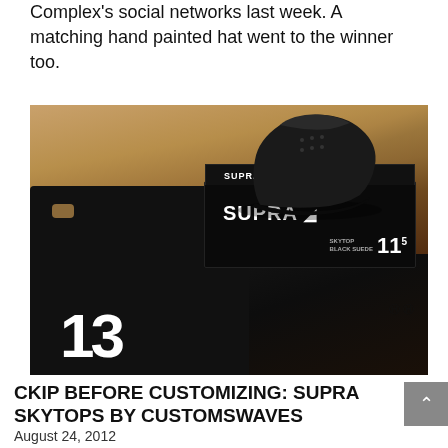Complex's social networks last week. A matching hand painted hat went to the winner too.
[Figure (photo): Photo of black Supra Skytop sneakers sitting on top of a black Supra shoe box (size 11.5), placed on a wooden floor alongside black bags/fabric with a large '3' printed in white and small bat graphics.]
CKIP BEFORE CUSTOMIZING: SUPRA SKYTOPS BY CUSTOMSWAVES
August 24, 2012